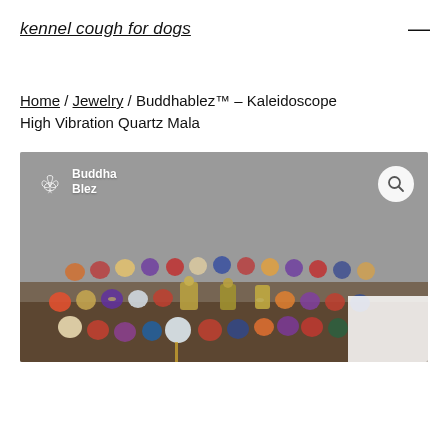kennel cough for dogs
Home / Jewelry / Buddhablez™ – Kaleidoscope High Vibration Quartz Mala
[Figure (photo): Photo of colorful beaded mala bracelets with crystal/quartz beads in rainbow colors including red, orange, yellow, purple, green, clear, stacked together with metal accents, on a dark wooden surface. Buddha Blez logo with lotus flower icon in top left. Search icon button in top right. White box partially visible in bottom right corner.]